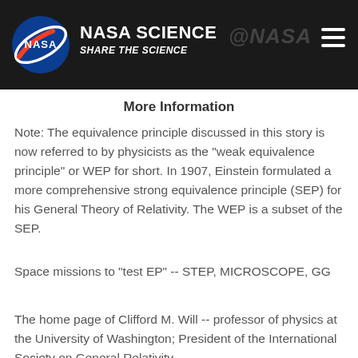NASA SCIENCE SHARE THE SCIENCE
More Information
Note: The equivalence principle discussed in this story is now referred to by physicists as the "weak equivalence principle" or WEP for short. In 1907, Einstein formulated a more comprehensive strong equivalence principle (SEP) for his General Theory of Relativity. The WEP is a subset of the SEP.
Space missions to "test EP" -- STEP, MICROSCOPE, GG
The home page of Clifford M. Will -- professor of physics at the University of Washington; President of the International Society on General Relativity and Gravitation; member of the National Academy...